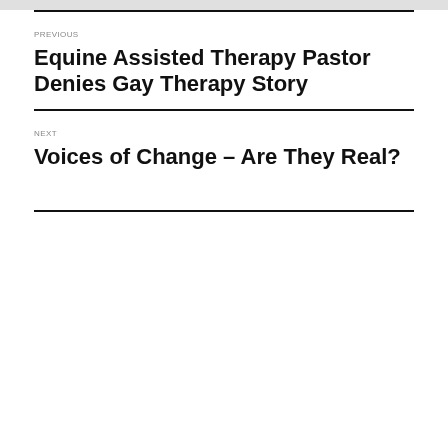PREVIOUS
Equine Assisted Therapy Pastor Denies Gay Therapy Story
NEXT
Voices of Change – Are They Real?